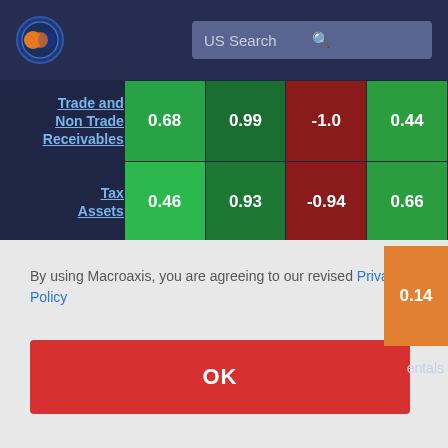[Figure (screenshot): Macroaxis website header with logo and US Search bar]
|  | Col1 | Col2 | Col3 | Col4 |
| --- | --- | --- | --- | --- |
| Trade and Non Trade Receivables | 0.68 | 0.99 | -1.0 | 0.44 |
| Tax Assets | 0.46 | 0.93 | -0.94 | 0.66 |
By using Macroaxis, you are agreeing to our revised Privacy Policy
OK
Matchups